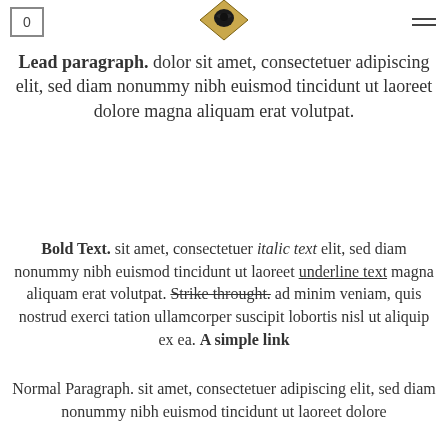0 [logo] [menu]
Lead paragraph. dolor sit amet, consectetuer adipiscing elit, sed diam nonummy nibh euismod tincidunt ut laoreet dolore magna aliquam erat volutpat.
Bold Text. sit amet, consectetuer italic text elit, sed diam nonummy nibh euismod tincidunt ut laoreet underline text magna aliquam erat volutpat. Strike throught. ad minim veniam, quis nostrud exerci tation ullamcorper suscipit lobortis nisl ut aliquip ex ea. A simple link
Normal Paragraph. sit amet, consectetuer adipiscing elit, sed diam nonummy nibh euismod tincidunt ut laoreet dolore